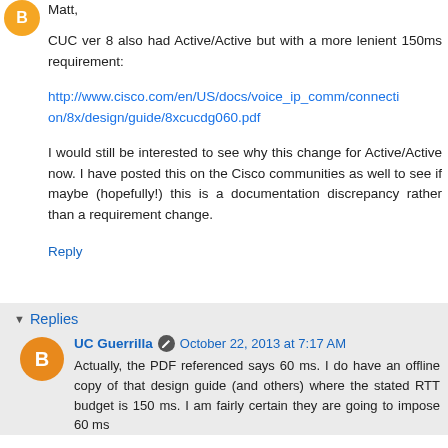Matt,
CUC ver 8 also had Active/Active but with a more lenient 150ms requirement:
http://www.cisco.com/en/US/docs/voice_ip_comm/connection/8x/design/guide/8xcucdg060.pdf
I would still be interested to see why this change for Active/Active now. I have posted this on the Cisco communities as well to see if maybe (hopefully!) this is a documentation discrepancy rather than a requirement change.
Reply
Replies
UC Guerrilla  October 22, 2013 at 7:17 AM
Actually, the PDF referenced says 60 ms. I do have an offline copy of that design guide (and others) where the stated RTT budget is 150 ms. I am fairly certain they are going to impose 60 ms